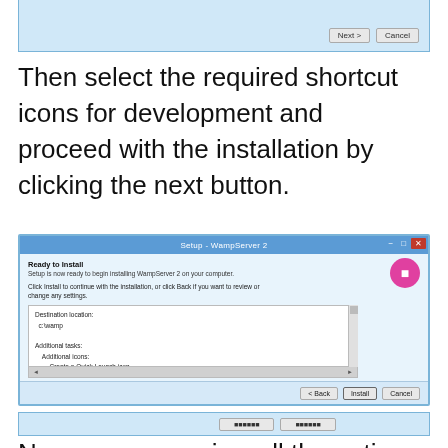[Figure (screenshot): Bottom portion of a WampServer 2 setup wizard showing Next and Cancel buttons]
Then select the required shortcut icons for development and proceed with the installation by clicking the next button.
[Figure (screenshot): WampServer 2 Setup dialog - Ready to Install screen showing destination location c:\wamp and additional tasks including Quick Launch and Desktop icons, with Back, Install and Cancel buttons]
[Figure (screenshot): Bottom strip of another setup wizard window showing Next and Back buttons]
Now you can review all the options above